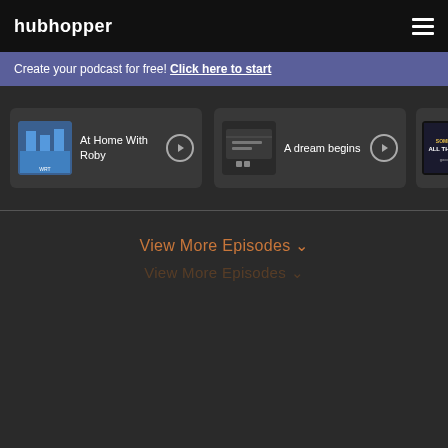hubhopper
Create your podcast for free! Click here to start
[Figure (screenshot): Episode card: At Home With Roby with thumbnail image and play button]
[Figure (screenshot): Episode card: A dream begins with thumbnail image and play button]
[Figure (screenshot): Episode card: Partially visible third card with thumbnail]
View More Episodes ∨